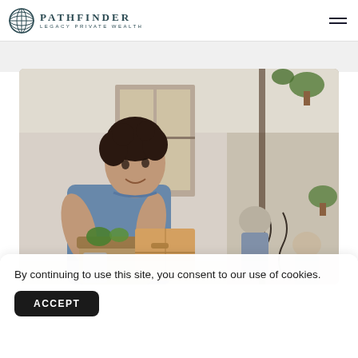PATHFINDER LEGACY PRIVATE WEALTH
[Figure (photo): A woman with curly hair wearing a denim shirt carrying a wicker basket with plants and a cardboard moving box while ascending stairs in a bright home interior; another person visible on stairs in background; plants on upper railing]
By continuing to use this site, you consent to our use of cookies.
ACCEPT